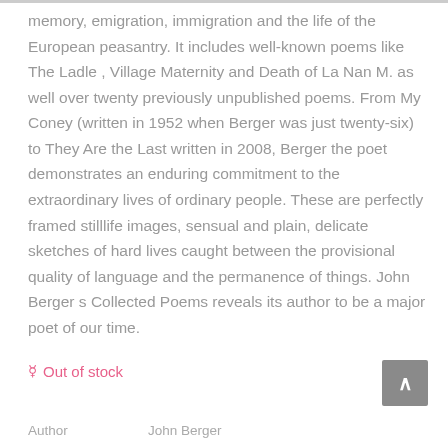memory, emigration, immigration and the life of the European peasantry. It includes well-known poems like The Ladle , Village Maternity and Death of La Nan M. as well over twenty previously unpublished poems. From My Coney (written in 1952 when Berger was just twenty-six) to They Are the Last written in 2008, Berger the poet demonstrates an enduring commitment to the extraordinary lives of ordinary people. These are perfectly framed stilllife images, sensual and plain, delicate sketches of hard lives caught between the provisional quality of language and the permanence of things. John Berger s Collected Poems reveals its author to be a major poet of our time.
Out of stock
Author John Berger